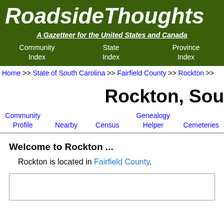RoadsideThoughts
A Gazetteer for the United States and Canada
Community Index | State Index | Province Index
Home >> State of South Carolina >> Fairfield County >> Rockton >>
Rockton, Sou
Community Profile | Nearby | Census | Genealogy Helper | Cemeteries
Welcome to Rockton ...
Rockton is located in Fairfield County.
[Figure (other): Map or content box, partially visible]